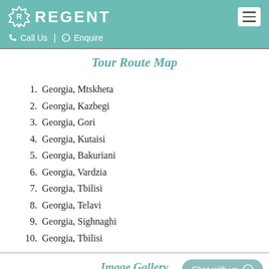REGENT | Call Us | Enquire
Tour Route Map
1. Georgia, Mtskheta
2. Georgia, Kazbegi
3. Georgia, Gori
4. Georgia, Kutaisi
5. Georgia, Bakuriani
6. Georgia, Vardzia
7. Georgia, Tbilisi
8. Georgia, Telavi
9. Georgia, Sighnaghi
10. Georgia, Tbilisi
Image Gallery
Chat with us